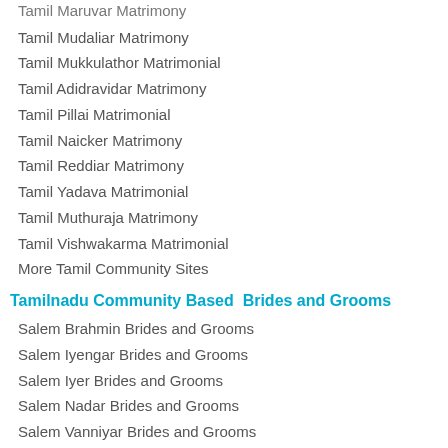Tamil Maruvar Matrimony
Tamil Mudaliar Matrimony
Tamil Mukkulathor Matrimonial
Tamil Adidravidar Matrimony
Tamil Pillai Matrimonial
Tamil Naicker Matrimony
Tamil Reddiar Matrimony
Tamil Yadava Matrimonial
Tamil Muthuraja Matrimony
Tamil Vishwakarma Matrimonial
More Tamil Community Sites
Tamilnadu Community Based  Brides and Grooms
Salem Brahmin Brides and Grooms
Salem Iyengar Brides and Grooms
Salem Iyer Brides and Grooms
Salem Nadar Brides and Grooms
Salem Vanniyar Brides and Grooms
Salem Naidu Brides and Grooms
Salem Chettiar Brides and Grooms